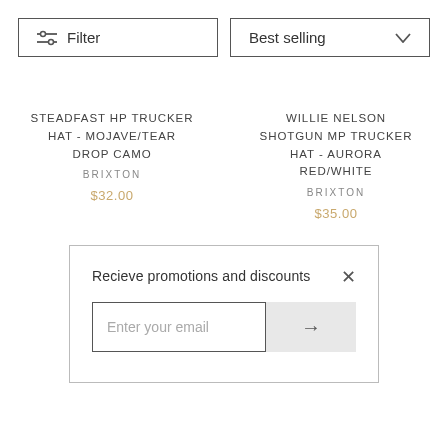Filter
Best selling
STEADFAST HP TRUCKER HAT - MOJAVE/TEAR DROP CAMO
BRIXTON
$32.00
WILLIE NELSON SHOTGUN MP TRUCKER HAT - AURORA RED/WHITE
BRIXTON
$35.00
Recieve promotions and discounts
Enter your email